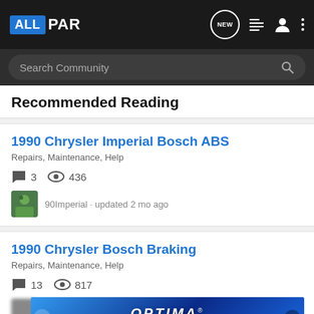ALLPAR — navigation bar with logo, NEW, list, user, and menu icons
Search Community
Recommended Reading
1990 Chrysler Imperial Bosch ABS
Repairs, Maintenance, Help
3 comments · 436 views
90Imperial · updated 2 mo ago
1990 Chrysler Bosch Braking
Repairs, Maintenance, Help
13 comments · 817 views
[Figure (screenshot): Optima Batteries advertisement banner in blue gradient]